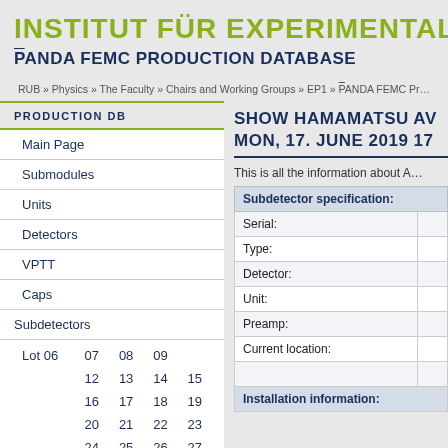INSTITUT FÜR EXPERIMENTALPHYS…
P̄ANDA FEMC PRODUCTION DATABASE
RUB » Physics » The Faculty » Chairs and Working Groups » EP1 » P̄ANDA FEMC Pr…
| PRODUCTION DB |
| --- |
| Main Page |
| Submodules |
| Units |
| Detectors |
| VPTT |
| Caps |
| Subdetectors |
| Lot 06 | 07 | 08 | 09 |
| 12 | 13 | 14 | 15 |
| 16 | 17 | 18 | 19 |
| 20 | 21 | 22 | 23 |
| 24 | 25 | 26 | 27 |
SHOW HAMAMATSU AV… MON, 17. JUNE 2019 17…
This is all the information about A…
| Subdetector specification: |
| --- |
| Serial: |
| Type: |
| Detector: |
| Unit: |
| Preamp: |
| Current location: |
| Installation information: |